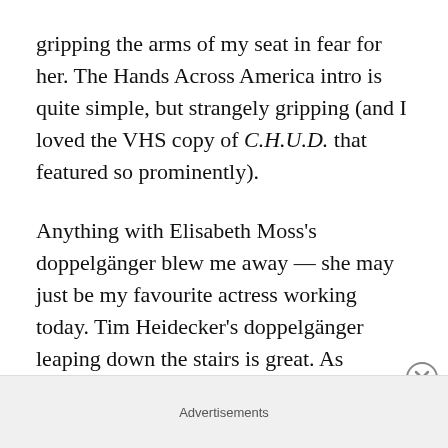gripping the arms of my seat in fear for her. The Hands Across America intro is quite simple, but strangely gripping (and I loved the VHS copy of C.H.U.D. that featured so prominently).
Anything with Elisabeth Moss's doppelgänger blew me away — she may just be my favourite actress working today. Tim Heidecker's doppelgänger leaping down the stairs is great. As mentioned before, scenes featuring Shahadi Wright Joseph as Umbrae are CHILLING. If I see anyone smiling at me like that in real life, I will have three strokes simultaneously. The fiery showdown between Evan Alex's Jason and Pluto near the end is
Advertisements